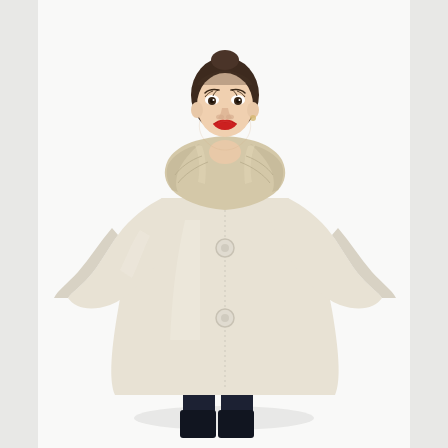[Figure (photo): A young woman with dark hair pulled back stands facing the camera against a white background. She wears a cream/ivory wool coat with a large fur collar (light beige/blonde fur), featuring two large round buttons down the front and wide bell-like three-quarter sleeves. She is wearing dark navy/black trousers and has red lipstick. Her hands are tucked into the coat's side pockets. The photo appears to be a vintage fashion/product photograph, likely from the 1960s.]